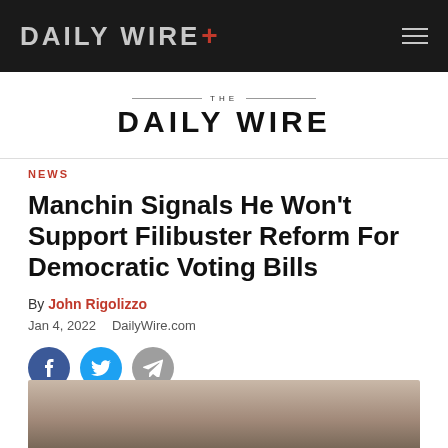DAILY WIRE+
THE DAILY WIRE
NEWS
Manchin Signals He Won't Support Filibuster Reform For Democratic Voting Bills
By John Rigolizzo
Jan 4, 2022  DailyWire.com
[Figure (illustration): Partial photo of a person at bottom of page]
[Figure (other): Social share buttons: Facebook, Twitter, Telegram]